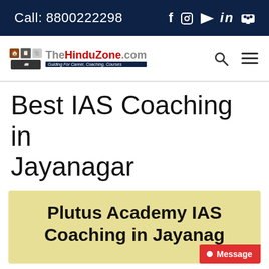Call: 8800222298
[Figure (logo): TheHinduZone.com logo with icons and tagline 'Guiding For Career, Coaching, Courses']
Best IAS Coaching in Jayanagar
Plutus Academy IAS Coaching in Jayanagar